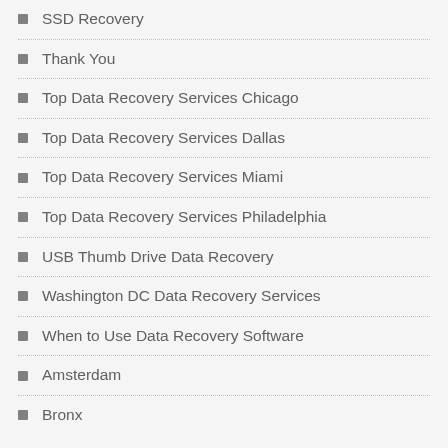SSD Recovery
Thank You
Top Data Recovery Services Chicago
Top Data Recovery Services Dallas
Top Data Recovery Services Miami
Top Data Recovery Services Philadelphia
USB Thumb Drive Data Recovery
Washington DC Data Recovery Services
When to Use Data Recovery Software
Amsterdam
Bronx